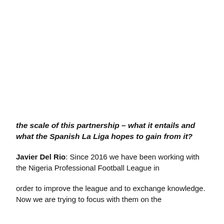the scale of this partnership – what it entails and what the Spanish La Liga hopes to gain from it?
Javier Del Rio: Since 2016 we have been working with the Nigeria Professional Football League in
order to improve the league and to exchange knowledge. Now we are trying to focus with them on the